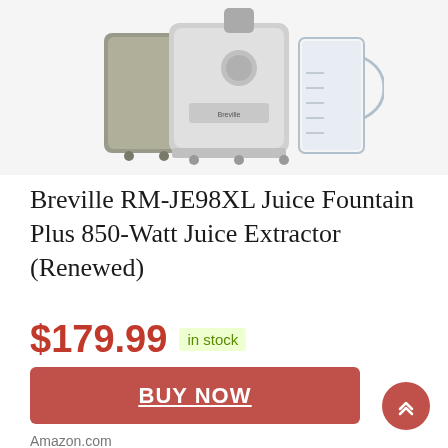[Figure (photo): Product photo of Breville RM-JE98XL Juice Fountain Plus juicer machine in silver/chrome finish with a clear pitcher/container on the right side, shown against a white background.]
Breville RM-JE98XL Juice Fountain Plus 850-Watt Juice Extractor (Renewed)
$179.99  in stock
BUY NOW
Amazon.com
as of September 2, 2022 10:01 am ⓘ